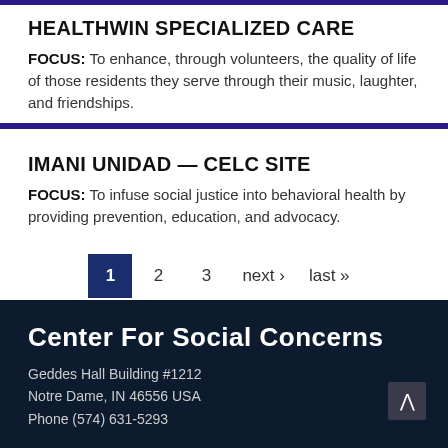HEALTHWIN SPECIALIZED CARE
FOCUS: To enhance, through volunteers, the quality of life of those residents they serve through their music, laughter, and friendships.
IMANI UNIDAD — CELC SITE
FOCUS: To infuse social justice into behavioral health by providing prevention, education, and advocacy.
1 2 3 next › last »
Center For Social Concerns
Geddes Hall Building #1212
Notre Dame, IN 46556 USA
Phone (574) 631-5293